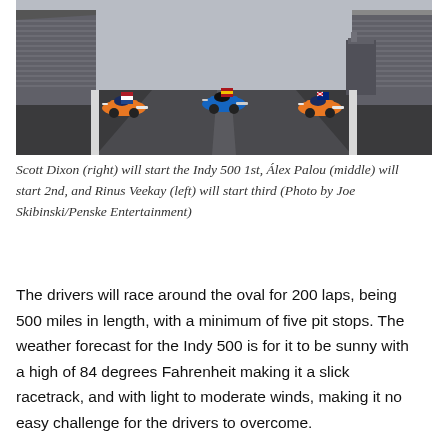[Figure (photo): Three IndyCar racing cars on the Indianapolis Motor Speedway track viewed from behind, each with national flags on them, grandstands visible on both sides and a tower in the background.]
Scott Dixon (right) will start the Indy 500 1st, Álex Palou (middle) will start 2nd, and Rinus Veekay (left) will start third (Photo by Joe Skibinski/Penske Entertainment)
The drivers will race around the oval for 200 laps, being 500 miles in length, with a minimum of five pit stops. The weather forecast for the Indy 500 is for it to be sunny with a high of 84 degrees Fahrenheit making it a slick racetrack, and with light to moderate winds, making it no easy challenge for the drivers to overcome.